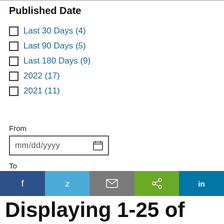Published Date
Last 30 Days (4)
Last 90 Days (5)
Last 180 Days (9)
2022 (17)
2021 (11)
From
mm/dd/yyyy
To
mm/dd/yyyy
Submit Date Range
Displaying 1-25 of